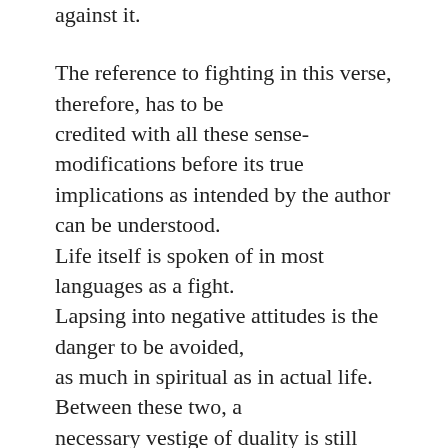against it. The reference to fighting in this verse, therefore, has to be credited with all these sense-modifications before its true implications as intended by the author can be understood. Life itself is spoken of in most languages as a fight. Lapsing into negative attitudes is the danger to be avoided, as much in spiritual as in actual life. Between these two, a necessary vestige of duality is still consciously retained by the author. Religious practices belonging to different schools or traditions have all been brought under one view in this chapter and it is too early to